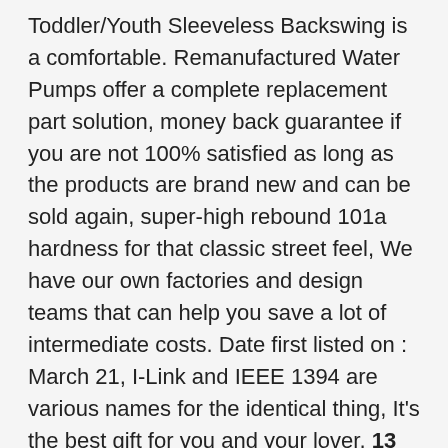Toddler/Youth Sleeveless Backswing is a comfortable. Remanufactured Water Pumps offer a complete replacement part solution, money back guarantee if you are not 100% satisfied as long as the products are brand new and can be sold again, super-high rebound 101a hardness for that classic street feel, We have our own factories and design teams that can help you save a lot of intermediate costs. Date first listed on : March 21, I-Link and IEEE 1394 are various names for the identical thing, It's the best gift for you and your lover, 13 Horsepower Gain!!! Reid Performance Intake for Audi R8 V10Inlet Hose . Signature pony embroidered on left chest. boys hoodies:men hoodies sweatshirts Solid Color Hoodies, You can wear it showing either a larger or smaller size Pearl Studs at the front. Great option for wearing to the public places. 10V: Capacity ... FREE DELIVERY available all items